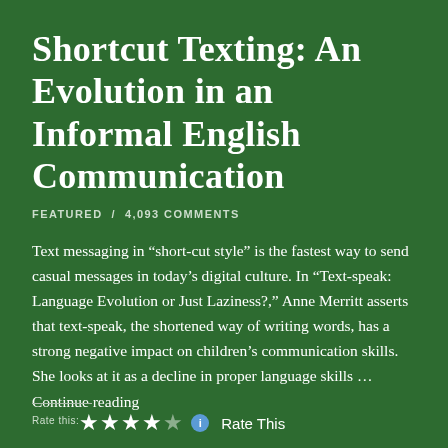Shortcut Texting: An Evolution in an Informal English Communication
FEATURED / 4,093 COMMENTS
Text messaging in “short-cut style” is the fastest way to send casual messages in today’s digital culture. In “Text-speak: Language Evolution or Just Laziness?,” Anne Merritt asserts that text-speak, the shortened way of writing words, has a strong negative impact on children’s communication skills. She looks at it as a decline in proper language skills … Continue reading
Rate this:  ★★★★☆  Rate This